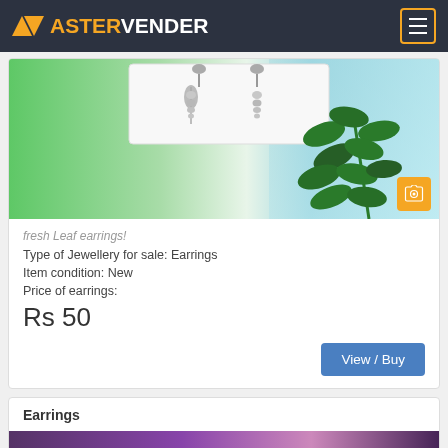ASTERVENDER
[Figure (photo): Product photo of leaf-shaped silver earrings displayed on a card against a green and white background with a green plant branch on the right side. Orange camera icon button in bottom right corner.]
fresh Leaf earrings!
Type of Jewellery for sale: Earrings
Item condition: New
Price of earrings:
Rs 50
View / Buy
Earrings
[Figure (photo): Partial product photo, bottom of page, showing purple/violet tones.]